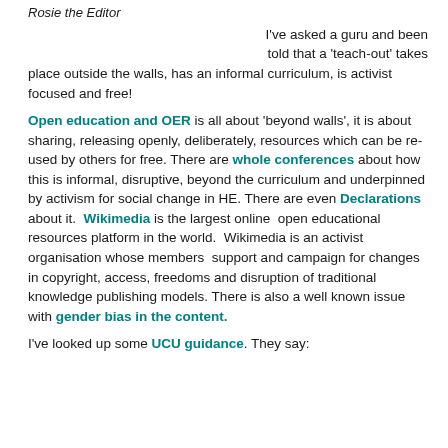Rosie the Editor
I've asked a guru and been told that a 'teach-out' takes place outside the walls, has an informal curriculum, is activist focused and free!
Open education and OER is all about 'beyond walls', it is about sharing, releasing openly, deliberately, resources which can be re-used by others for free. There are whole conferences about how this is informal, disruptive, beyond the curriculum and underpinned by activism for social change in HE. There are even Declarations about it. Wikimedia is the largest online open educational resources platform in the world. Wikimedia is an activist organisation whose members support and campaign for changes in copyright, access, freedoms and disruption of traditional knowledge publishing models. There is also a well known issue with gender bias in the content.
I've looked up some UCU guidance. They say: